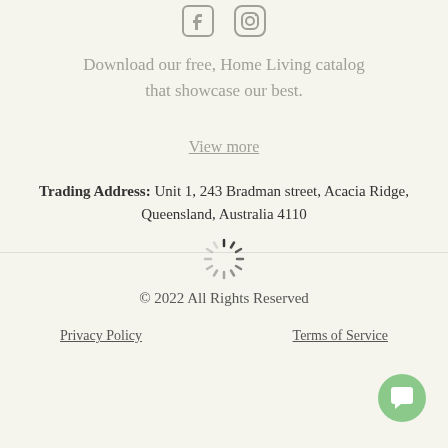[Figure (illustration): Facebook and Instagram social media icons side by side]
Download our free, Home Living catalog that showcase our best.
View more
Trading Address: Unit 1, 243 Bradman street, Acacia Ridge, Queensland, Australia 4110
[Figure (illustration): Loading spinner icon]
© 2022 All Rights Reserved
Privacy Policy   Terms of Service